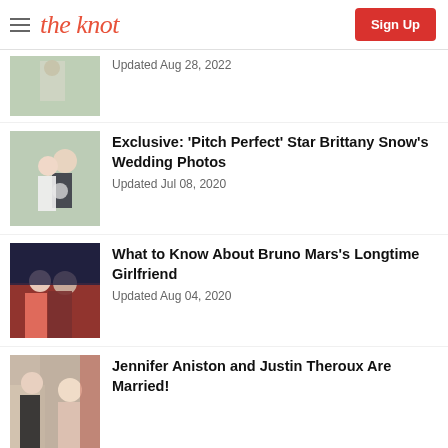the knot | Sign Up
[Figure (photo): Partial article thumbnail - wedding photo]
Updated Aug 28, 2022
[Figure (photo): Couple at wedding - Brittany Snow wedding photo thumbnail]
Exclusive: 'Pitch Perfect' Star Brittany Snow's Wedding Photos
Updated Jul 08, 2020
[Figure (photo): Bruno Mars and girlfriend thumbnail]
What to Know About Bruno Mars's Longtime Girlfriend
Updated Aug 04, 2020
[Figure (photo): Jennifer Aniston and Justin Theroux thumbnail]
Jennifer Aniston and Justin Theroux Are Married!
[Figure (photo): Famous couples collage thumbnail]
Famous Couples We Love to Love
Updated May 20, 2020